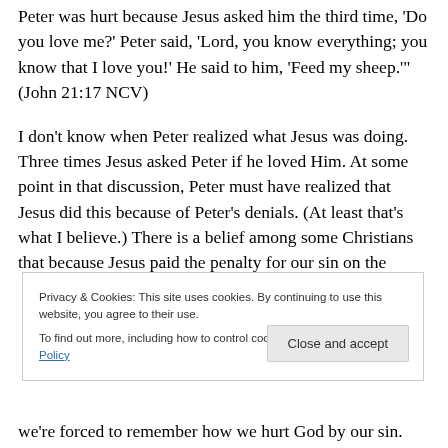Peter was hurt because Jesus asked him the third time, 'Do you love me?' Peter said, 'Lord, you know everything; you know that I love you!' He said to him, 'Feed my sheep.'" (John 21:17 NCV)
I don't know when Peter realized what Jesus was doing. Three times Jesus asked Peter if he loved Him. At some point in that discussion, Peter must have realized that Jesus did this because of Peter's denials. (At least that's what I believe.) There is a belief among some Christians that because Jesus paid the penalty for our sin on the
Privacy & Cookies: This site uses cookies. By continuing to use this website, you agree to their use. To find out more, including how to control cookies, see here: Cookie Policy
Close and accept
we're forced to remember how we hurt God by our sin.